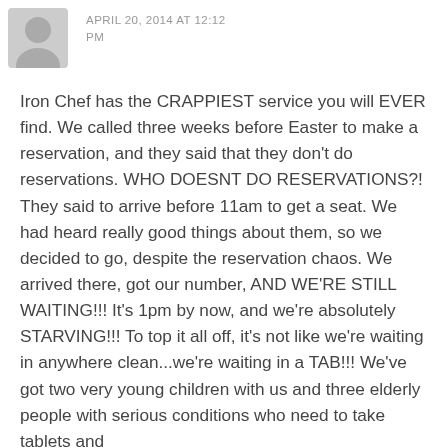APRIL 20, 2014 AT 12:12 PM
Iron Chef has the CRAPPIEST service you will EVER find. We called three weeks before Easter to make a reservation, and they said that they don't do reservations. WHO DOESNT DO RESERVATIONS?! They said to arrive before 11am to get a seat. We had heard really good things about them, so we decided to go, despite the reservation chaos. We arrived there, got our number, AND WE'RE STILL WAITING!!! It's 1pm by now, and we're absolutely STARVING!!! To top it all off, it's not like we're waiting in anywhere clean...we're waiting in a TAB!!! We've got two very young children with us and three elderly people with serious conditions who need to take tablets and